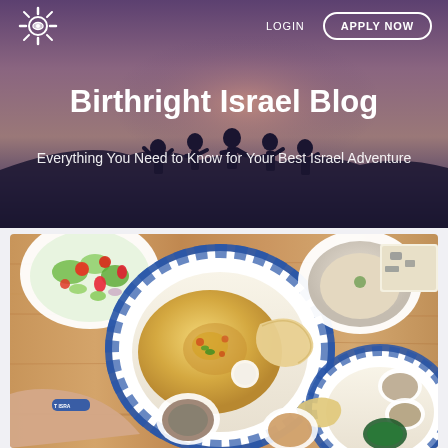[Figure (screenshot): Birthright Israel website header with logo, LOGIN and APPLY NOW navigation buttons on dark purple/mauve gradient background with silhouettes of people on a hilltop]
Birthright Israel Blog
Everything You Need to Know for Your Best Israel Adventure
[Figure (photo): Overhead shot of Israeli food spread on wooden table: blue and white patterned plates with hummus, salads, dips, pita bread, and small bowls with various spreads. A person's arm wearing a Birthright Israel bracelet is visible.]